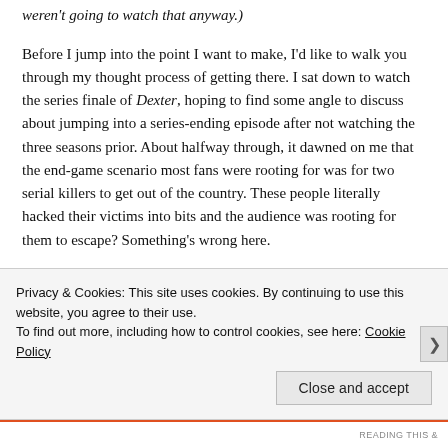weren't going to watch that anyway.)
Before I jump into the point I want to make, I'd like to walk you through my thought process of getting there. I sat down to watch the series finale of Dexter, hoping to find some angle to discuss about jumping into a series-ending episode after not watching the three seasons prior. About halfway through, it dawned on me that the end-game scenario most fans were rooting for was for two serial killers to get out of the country. These people literally hacked their victims into bits and the audience was rooting for them to escape? Something's wrong here.
[Figure (photo): Partial view of colorful book or magazine covers]
Privacy & Cookies: This site uses cookies. By continuing to use this website, you agree to their use.
To find out more, including how to control cookies, see here: Cookie Policy
Close and accept
READING THIS &